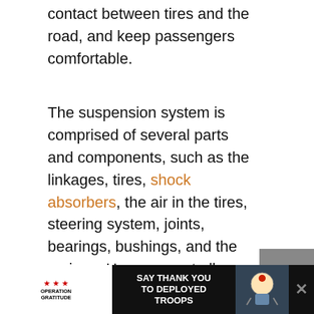contact between tires and the road, and keep passengers comfortable.
The suspension system is comprised of several parts and components, such as the linkages, tires, shock absorbers, the air in the tires, steering system, joints, bearings, bushings, and the springs. However, not all suspension systems are exactly the same.
[Figure (infographic): Gray call-out box with orange asterisk icon, bold text 'Need help with a car problem RIGHT NOW?' and orange underlined 'Click Here' link followed by 'to chat online with a']
[Figure (infographic): Advertisement banner: Operation Gratitude 'Say Thank You to Deployed Troops' ad with logo and illustrated character, with close button X]